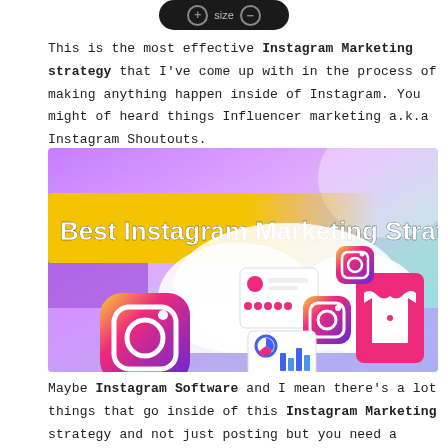[Figure (other): Dark rounded rectangle UI element with plus icon, 'size' text, and minus icon]
This is the most effective Instagram Marketing strategy that I've come up with in the process of making anything happen inside of Instagram. You might of heard things Influencer marketing a.k.a Instagram Shoutouts.
[Figure (illustration): Colorful banner image titled 'Best Instagram Marketing Strategy' featuring Instagram logo icon, cloud graphic with social media elements, profile cards, and a pink product card on a gradient purple/pink/teal background.]
Maybe Instagram Software and I mean there's a lot things that go inside of this Instagram Marketing strategy and not just posting but you need a strategy after you post. Then, getting to the top posts in the process for you know that you're